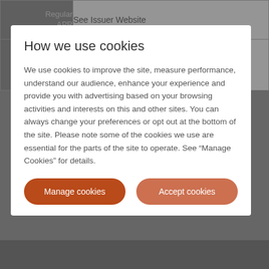|  |  |
| --- | --- |
| Regular APR | See Issuer Website |
| Annual Fee | See Issuer Website |
How we use cookies
We use cookies to improve the site, measure performance, understand our audience, enhance your experience and provide you with advertising based on your browsing activities and interests on this and other sites. You can always change your preferences or opt out at the bottom of the site. Please note some of the cookies we use are essential for the parts of the site to operate. See “Manage Cookies” for details.
Manage cookies
Accept cookies